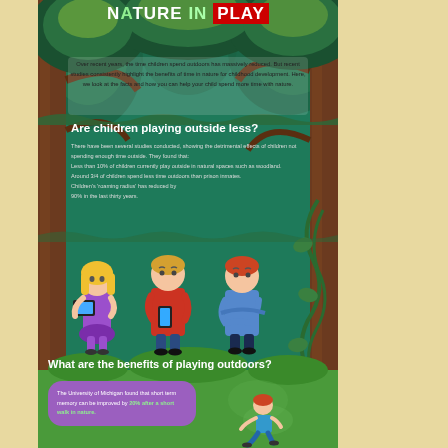NATURE IN PLAY
Over recent years, the time children spend outdoors has massively reduced. But recent studies consistently highlight the benefits of time in nature for childhood development. Here, we look at the facts and how you can help your child spend more time with nature.
Are children playing outside less?
There have been several studies conducted, showing the detrimental effects of children not spending enough time outside. They found that:
Less than 10% of children currently play outside in natural spaces such as woodland.
Around 3/4 of children spend less time outdoors than prison inmates.
Children's 'roaming radius' has reduced by 90% in the last thirty years.
[Figure (illustration): Three children standing together looking at mobile devices: a girl with blonde hair in purple outfit looking at a tablet, a boy in red hoodie looking at a phone, and a boy in blue sweater with arms crossed looking unhappy.]
What are the benefits of playing outdoors?
The University of Michigan found that short term memory can be improved by 20% after a short walk in nature.